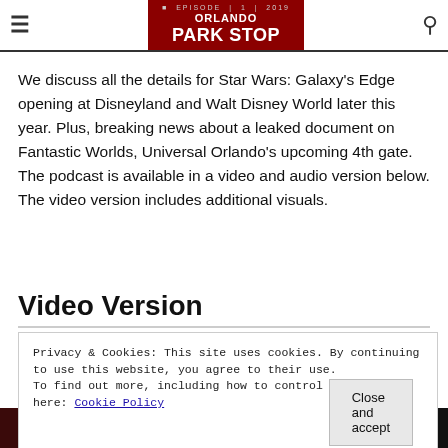Orlando Park Stop
We discuss all the details for Star Wars: Galaxy's Edge opening at Disneyland and Walt Disney World later this year. Plus, breaking news about a leaked document on Fantastic Worlds, Universal Orlando's upcoming 4th gate. The podcast is available in a video and audio version below. The video version includes additional visuals.
Video Version
Privacy & Cookies: This site uses cookies. By continuing to use this website, you agree to their use.
To find out more, including how to control cookies, see here: Cookie Policy
Close and accept